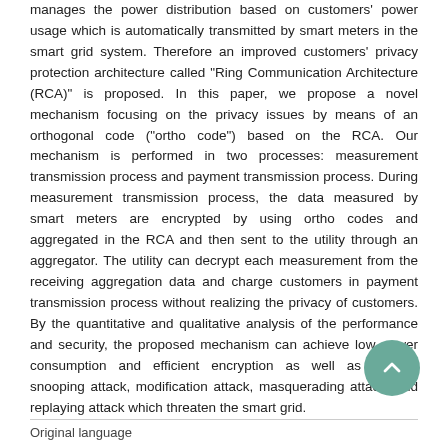manages the power distribution based on customers' power usage which is automatically transmitted by smart meters in the smart grid system. Therefore an improved customers' privacy protection architecture called "Ring Communication Architecture (RCA)" is proposed. In this paper, we propose a novel mechanism focusing on the privacy issues by means of an orthogonal code ("ortho code") based on the RCA. Our mechanism is performed in two processes: measurement transmission process and payment transmission process. During measurement transmission process, the data measured by smart meters are encrypted by using ortho codes and aggregated in the RCA and then sent to the utility through an aggregator. The utility can decrypt each measurement from the receiving aggregation data and charge customers in payment transmission process without realizing the privacy of customers. By the quantitative and qualitative analysis of the performance and security, the proposed mechanism can achieve low power consumption and efficient encryption as well as prevent snooping attack, modification attack, masquerading attack, and replaying attack which threaten the smart grid.
Original language